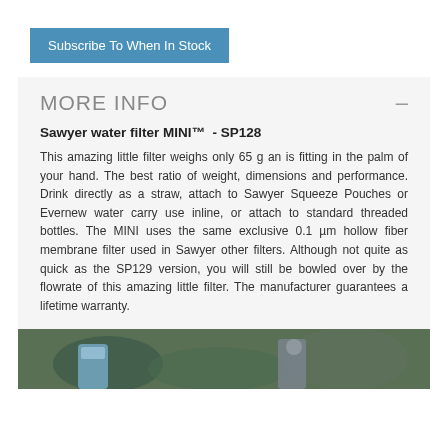Subscribe To When In Stock
MORE INFO
Sawyer water filter MINI™  - SP128
This amazing little filter weighs only 65 g an is fitting in the palm of your hand. The best ratio of weight, dimensions and performance. Drink directly as a straw, attach to Sawyer Squeeze Pouches or Evernew water carry use inline, or attach to standard threaded bottles. The MINI uses the same exclusive 0.1 µm hollow fiber membrane filter used in Sawyer other filters. Although not quite as quick as the SP129 version, you will still be bowled over by the flowrate of this amazing little filter. The manufacturer guarantees a lifetime warranty.
[Figure (photo): Photo of people outdoors using or demonstrating the Sawyer water filter product]